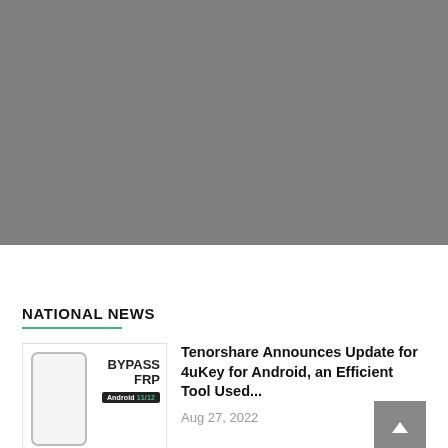[Figure (photo): Large gray placeholder banner image at top of page]
NATIONAL NEWS
[Figure (photo): Thumbnail image showing a smartphone with 'BYPASS FRP' text and Android 11/12 badge]
Tenorshare Announces Update for 4uKey for Android, an Efficient Tool Used...
Aug 27, 2022